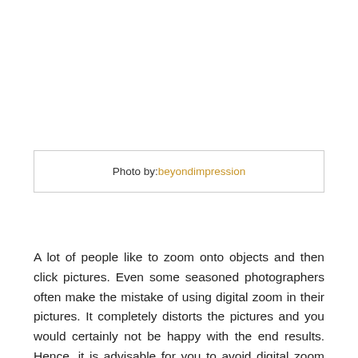Photo by:beyondimpression
A lot of people like to zoom onto objects and then click pictures. Even some seasoned photographers often make the mistake of using digital zoom in their pictures. It completely distorts the pictures and you would certainly not be happy with the end results. Hence, it is advisable for you to avoid digital zoom with these camera phones, no matter how tempting the option looks. There are certain attachments available with the phones that could be used to zoom in manually on certain objects. It gives you better zoom-in abilities and the chances of the picture appearing blurry and distorted are also reduced to the minimum.